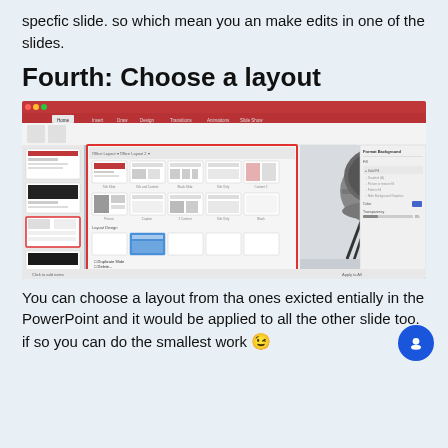specfic slide. so which mean you an make edits in one of the slides.
Fourth: Choose a layout
[Figure (screenshot): Screenshot of Microsoft PowerPoint showing the layout selection panel open with various slide layout options, and a slide with a black chair on a light background.]
You can choose a layout from tha ones exicted entially in the PowerPoint and it would be applied to all the other slide too. if so you can do the smallest work 😉